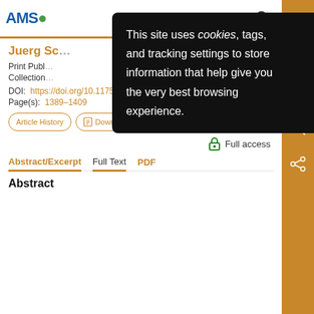AMS - American Meteorological Society
Juerg Sc...
Print Publ...
Collection...
DOI: https://doi.org/10.1175/2010MWR3523.1
Page(s): 1389–1409
Article History | Download PDF | Get Permissio...
Full access
Abstract/Excerpt  Full Text  PDF
Abstract
This site uses cookies, tags, and tracking settings to store information that help give you the very best browsing experience.